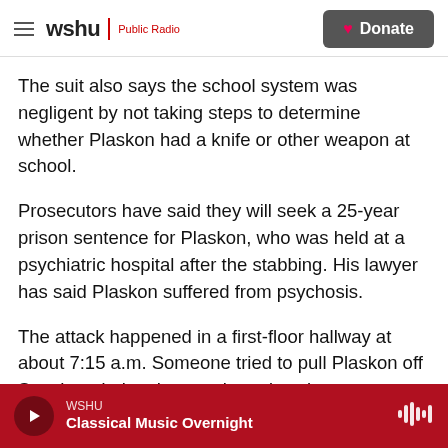wshu | Public Radio — Donate
The suit also says the school system was negligent by not taking steps to determine whether Plaskon had a knife or other weapon at school.
Prosecutors have said they will seek a 25-year prison sentence for Plaskon, who was held at a psychiatric hospital after the stabbing. His lawyer has said Plaskon suffered from psychosis.
The attack happened in a first-floor hallway at about 7:15 a.m. Someone tried to pull Plaskon off Sanchez during the attack, and a witness saw
WSHU — Classical Music Overnight